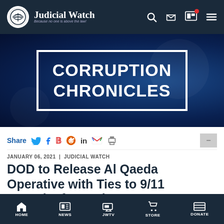Judicial Watch — Because no one is above the law!
[Figure (screenshot): Corruption Chronicles banner with white bordered rectangle on dark blue background]
CORRUPTION CHRONICLES
Share
JANUARY 06, 2021 | JUDICIAL WATCH
DOD to Release Al Qaeda Operative with Ties to 9/11 Terrorist from Gitmo
HOME | NEWS | JWTV | STORE | DONATE